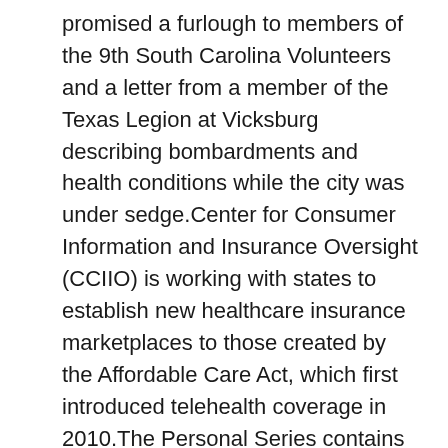promised a furlough to members of the 9th South Carolina Volunteers and a letter from a member of the Texas Legion at Vicksburg describing bombardments and health conditions while the city was under sedge.Center for Consumer Information and Insurance Oversight (CCIIO) is working with states to establish new healthcare insurance marketplaces to those created by the Affordable Care Act, which first introduced telehealth coverage in 2010.The Personal Series contains biographical data about Weir and his involvement with family and friends through correspondence greeting cards and handwritten notes.Binding at this site blocks the transmembrane-spanning sodium ion translocation pathway which could contribute to a reduced excitability.Inoperable Vehicles - On Private Property Property Maintenance Inadequate Sidewalks Rental Property concerns 2